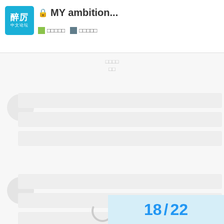MY ambition...
[Figure (screenshot): Forum thread page showing 'MY ambition...' locked thread with logo, tags, user avatars, post bars, and pagination showing 18/22]